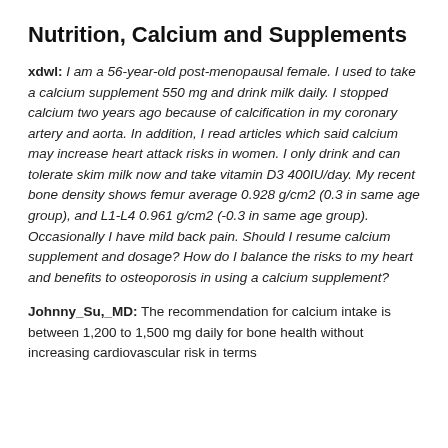Nutrition, Calcium and Supplements
xdwl: I am a 56-year-old post-menopausal female. I used to take a calcium supplement 550 mg and drink milk daily. I stopped calcium two years ago because of calcification in my coronary artery and aorta. In addition, I read articles which said calcium may increase heart attack risks in women. I only drink and can tolerate skim milk now and take vitamin D3 400IU/day. My recent bone density shows femur average 0.928 g/cm2 (0.3 in same age group), and L1-L4 0.961 g/cm2 (-0.3 in same age group). Occasionally I have mild back pain. Should I resume calcium supplement and dosage? How do I balance the risks to my heart and benefits to osteoporosis in using a calcium supplement?
Johnny_Su,_MD: The recommendation for calcium intake is between 1,200 to 1,500 mg daily for bone health without increasing cardiovascular risk in terms